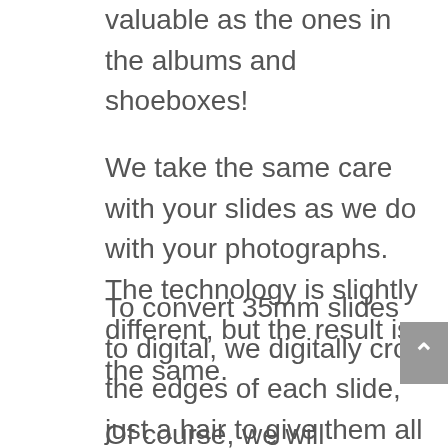valuable as the ones in the albums and shoeboxes!
We take the same care with your slides as we do with your photographs. The technology is slightly different, but the result is the same.
To convert 35mm slides to digital, we digitally crop the edges of each slide, just a hair to give them all a nice clean edge, which wasn't possible 50 years ago.
Of course, we will automatically rotate